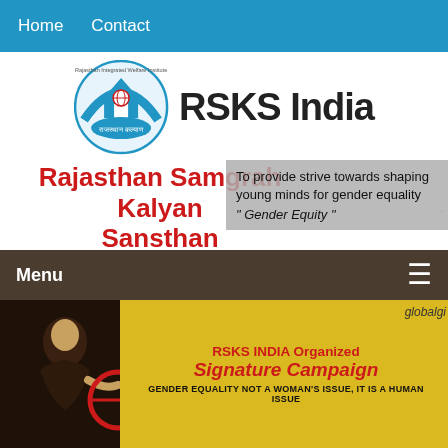Home   Contact
[Figure (logo): Rajasthan Integrated Welfare Institute circular logo with house and globe]
RSKS India
Rajasthan Samgrah Kalyan Sansthan
To provide strive towards shaping young minds for gender equality
" Gender Equity "
Menu
[Figure (photo): Photo of woman at RSKS India Organized Signature Campaign banner reading GENDER EQUALITY NOT A WOMAN'S ISSUE, IT IS A HUMAN ISSUE, with globalgi partially visible top right]